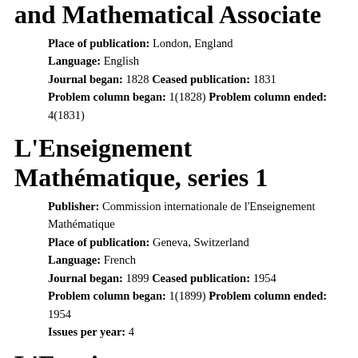and Mathematical Associate
Place of publication: London, England
Language: English
Journal began: 1828 Ceased publication: 1831
Problem column began: 1(1828) Problem column ended: 4(1831)
L'Enseignement Mathématique, series 1
Publisher: Commission internationale de l'Enseignement Mathématique
Place of publication: Geneva, Switzerland
Language: French
Journal began: 1899 Ceased publication: 1954
Problem column began: 1(1899) Problem column ended: 1954
Issues per year: 4
L'Enseignement